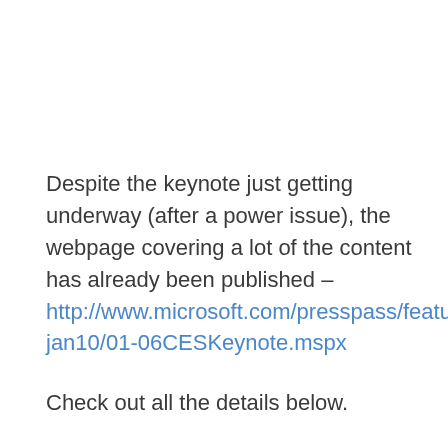Despite the keynote just getting underway (after a power issue), the webpage covering a lot of the content has already been published – http://www.microsoft.com/presspass/features/2010/jan10/01-06CESKeynote.mspx
Check out all the details below.
LAS VEGAS – Jan. 6, 2010 – The Consumer